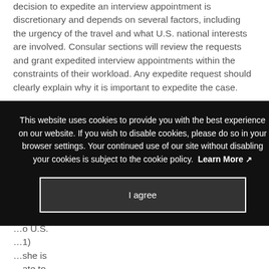decision to expedite an interview appointment is discretionary and depends on several factors, including the urgency of the travel and what U.S. national interests are involved. Consular sections will review the requests and grant expedited interview appointments within the constraints of their workload. Any expedite request should clearly explain why it is important to expedite the case.
[Figure (screenshot): Cookie consent overlay on a dark background. Text reads: 'This website uses cookies to provide you with the best experience on our website. If you wish to disable cookies, please do so in your browser settings. Your continued use of our site without disabling your cookies is subject to the cookie policy. Learn More [icon]' with an 'I agree' button below.]
...o U.S. ...1) ...she is ...ate to the consular officer's satisfaction that he or she has strong